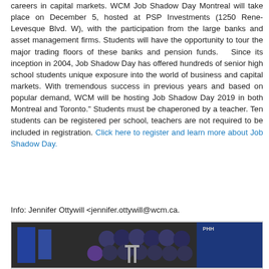careers in capital markets. WCM Job Shadow Day Montreal will take place on December 5, hosted at PSP Investments (1250 Rene-Levesque Blvd. W), with the participation from the large banks and asset management firms. Students will have the opportunity to tour the major trading floors of these banks and pension funds.  Since its inception in 2004, Job Shadow Day has offered hundreds of senior high school students unique exposure into the world of business and capital markets. With tremendous success in previous years and based on popular demand, WCM will be hosting Job Shadow Day 2019 in both Montreal and Toronto." Students must be chaperoned by a teacher. Ten students can be registered per school, teachers are not required to be included in registration. Click here to register and learn more about Job Shadow Day.
Info: Jennifer Ottywill <jennifer.ottywill@wcm.ca.
[Figure (photo): Group photo of students and adults in matching dark t-shirts at what appears to be a competition or event, with banners and equipment visible in the background.]